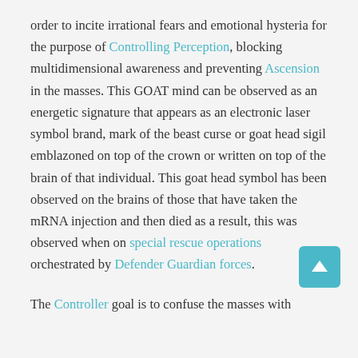order to incite irrational fears and emotional hysteria for the purpose of Controlling Perception, blocking multidimensional awareness and preventing Ascension in the masses. This GOAT mind can be observed as an energetic signature that appears as an electronic laser symbol brand, mark of the beast curse or goat head sigil emblazoned on top of the crown or written on top of the brain of that individual. This goat head symbol has been observed on the brains of those that have taken the mRNA injection and then died as a result, this was observed when on special rescue operations orchestrated by Defender Guardian forces.
The Controller goal is to confuse the masses with